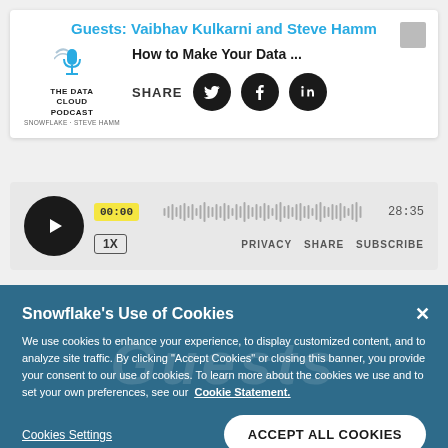Guests: Vaibhav Kulkarni and Steve Hamm
How to Make Your Data ...
[Figure (logo): The Data Cloud Podcast logo with microphone icon]
SHARE
[Figure (screenshot): Audio player with waveform, timestamp 00:00, total duration 28:35, speed 1X, PRIVACY SHARE SUBSCRIBE links]
Snowflake's Use of Cookies
We use cookies to enhance your experience, to display customized content, and to analyze site traffic. By clicking "Accept Cookies" or closing this banner, you provide your consent to our use of cookies. To learn more about the cookies we use and to set your own preferences, see our  Cookie Statement.
Cookies Settings
ACCEPT ALL COOKIES